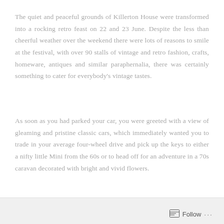The quiet and peaceful grounds of Killerton House were transformed into a rocking retro feast on 22 and 23 June. Despite the less than cheerful weather over the weekend there were lots of reasons to smile at the festival, with over 90 stalls of vintage and retro fashion, crafts, homeware, antiques and similar paraphernalia, there was certainly something to cater for everybody's vintage tastes.
As soon as you had parked your car, you were greeted with a view of gleaming and pristine classic cars, which immediately wanted you to trade in your average four-wheel drive and pick up the keys to either a nifty little Mini from the 60s or to head off for an adventure in a 70s caravan decorated with bright and vivid flowers.
Follow ...